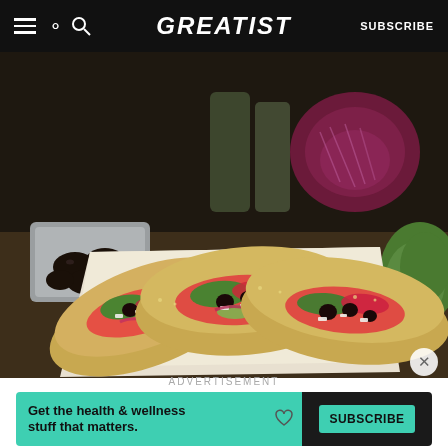GREATIST  SUBSCRIBE
[Figure (photo): Food photo showing three Greek-style tacos with tomatoes, olives, cucumber, red onion, feta cheese in flour tortillas on parchment paper, with a bowl of olives and red cabbage in the background]
ADVERTISEMENT
[Figure (infographic): Advertisement banner with teal background saying 'Get the health & wellness stuff that matters.' with a SUBSCRIBE button on dark background]